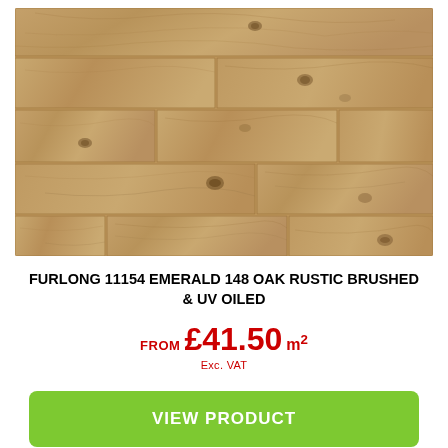[Figure (photo): Close-up photograph of light brown/tan oak wood flooring planks with natural grain, knots, and brushed texture arranged in a staggered pattern]
FURLONG 11154 EMERALD 148 OAK RUSTIC BRUSHED & UV OILED
FROM £41.50 m² Exc. VAT
VIEW PRODUCT